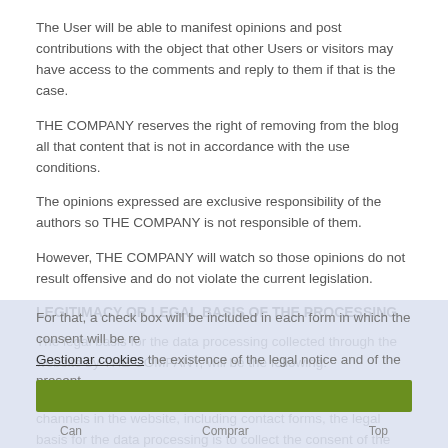The User will be able to manifest opinions and post contributions with the object that other Users or visitors may have access to the comments and reply to them if that is the case.
THE COMPANY reserves the right of removing from the blog all that content that is not in accordance with the use conditions.
The opinions expressed are exclusive responsibility of the authors so THE COMPANY is not responsible of them.
However, THE COMPANY will watch so those opinions do not result offensive and do not violate the current legislation.
LEGITIMACY OR LEGAL BASIS OF THE PROCESSING
The legal basis for the data processing collected through the website by THE COMPANY, will be the following:
In case of data collection through the habilitated contact channels in the website, including contact forms, the legal basis for the data processing is to collect the consent of the interested person or the user in order to process your data.
For that, a check box will be included in each form in which the consent will be re... the existence of the legal notice and of the present...
Gestionar cookies
Can   Comprar   Top